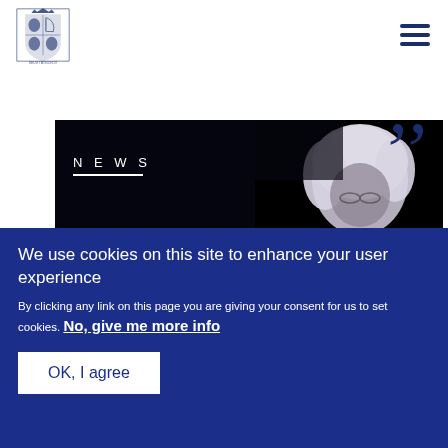UK Government / Royal coat of arms logo with hamburger menu
"
[Figure (photo): Person with white/silver hair against a dark background, partially visible. NEWS label overlaid on the image.]
NEWS
We use cookies on this site to enhance your user experience
By clicking any link on this page you are giving your consent for us to set cookies. No, give me more info
OK, I agree